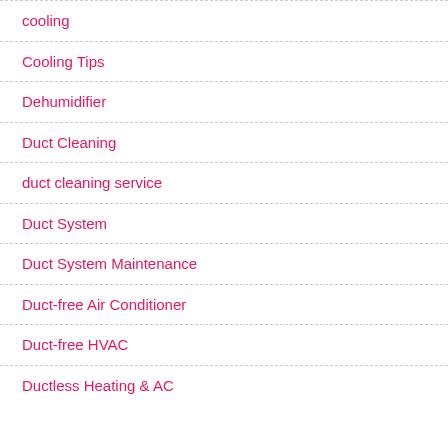cooling
Cooling Tips
Dehumidifier
Duct Cleaning
duct cleaning service
Duct System
Duct System Maintenance
Duct-free Air Conditioner
Duct-free HVAC
Ductless Heating & AC